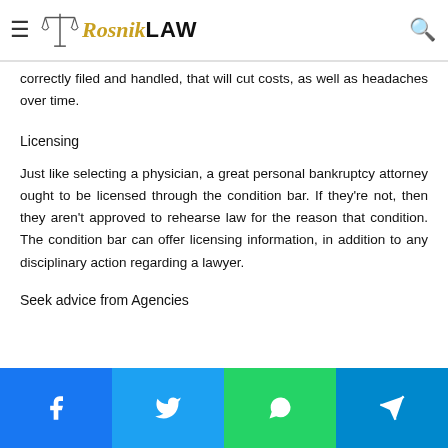Rosnik LAW
correctly filed and handled, that will cut costs, as well as headaches over time.
Licensing
Just like selecting a physician, a great personal bankruptcy attorney ought to be licensed through the condition bar. If they're not, then they aren't approved to rehearse law for the reason that condition. The condition bar can offer licensing information, in addition to any disciplinary action regarding a lawyer.
Seek advice from Agencies
[Figure (other): Social media sharing buttons: Facebook (blue), Twitter (light blue), WhatsApp (green), Telegram (teal)]